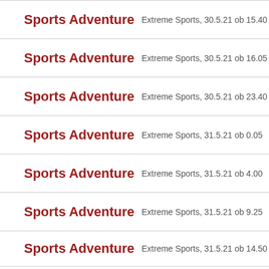Sports Adventure  Extreme Sports, 30.5.21 ob 15.40
Sports Adventure  Extreme Sports, 30.5.21 ob 16.05
Sports Adventure  Extreme Sports, 30.5.21 ob 23.40
Sports Adventure  Extreme Sports, 31.5.21 ob 0.05
Sports Adventure  Extreme Sports, 31.5.21 ob 4.00
Sports Adventure  Extreme Sports, 31.5.21 ob 9.25
Sports Adventure  Extreme Sports, 31.5.21 ob 14.50